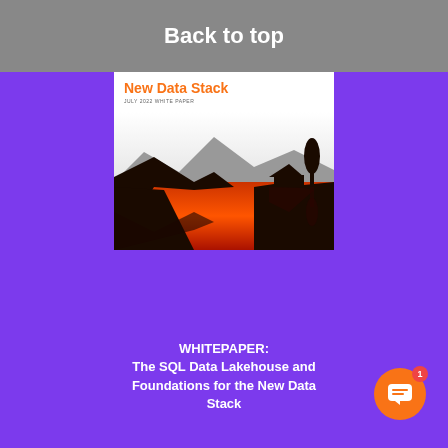Back to top
The SQL Data Lakehouse and Foundations for the New Data Stack
JULY 2022 WHITE PAPER
[Figure (illustration): Scenic silhouette of mountains, a cabin, trees, and their reflection in a lake at sunset with gradient from orange to red water and light gray sky.]
WHITEPAPER: The SQL Data Lakehouse and Foundations for the New Data Stack